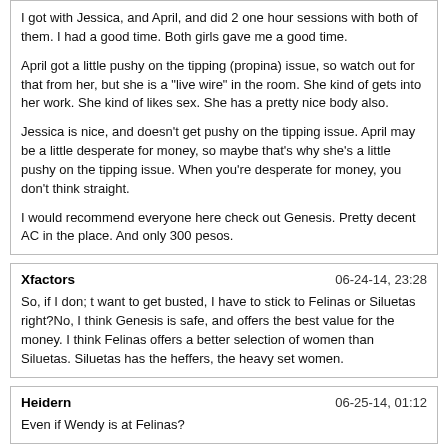I got with Jessica, and April, and did 2 one hour sessions with both of them. I had a good time. Both girls gave me a good time.

April got a little pushy on the tipping (propina) issue, so watch out for that from her, but she is a "live wire" in the room. She kind of gets into her work. She kind of likes sex. She has a pretty nice body also.

Jessica is nice, and doesn't get pushy on the tipping issue. April may be a little desperate for money, so maybe that's why she's a little pushy on the tipping issue. When you're desperate for money, you don't think straight.

I would recommend everyone here check out Genesis. Pretty decent AC in the place. And only 300 pesos.
Xfactors	06-24-14, 23:28
So, if I don; t want to get busted, I have to stick to Felinas or Siluetas right?No, I think Genesis is safe, and offers the best value for the money. I think Felinas offers a better selection of women than Siluetas. Siluetas has the heffers, the heavy set women.
Heidern	06-25-14, 01:12
Even if Wendy is at Felinas?
TruckerHead	06-25-14, 03:50
Jessica is a spinner with slight baby damage very boney very cute face she tell me she is from Merida Yucatan so that is likely a sex trafficking victim, also she told she used to work at Motel Fronterizo startinga t 9 PM wich I did not know tha place must check it out the girls are a the Motel Fronterizo Bar, that Motel is next tpo the Fuentes Motel on the Main cties drag.